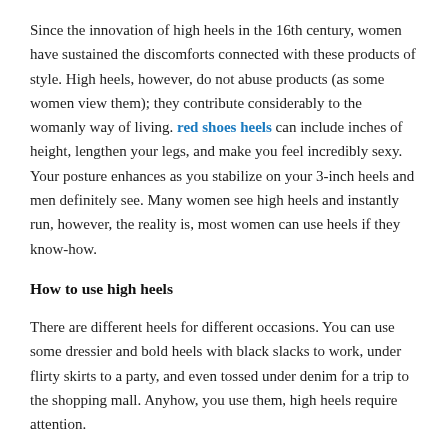Since the innovation of high heels in the 16th century, women have sustained the discomforts connected with these products of style. High heels, however, do not abuse products (as some women view them); they contribute considerably to the womanly way of living. red shoes heels can include inches of height, lengthen your legs, and make you feel incredibly sexy. Your posture enhances as you stabilize on your 3-inch heels and men definitely see. Many women see high heels and instantly run, however, the reality is, most women can use heels if they know-how.
How to use high heels
There are different heels for different occasions. You can use some dressier and bold heels with black slacks to work, under flirty skirts to a party, and even tossed under denim for a trip to the shopping mall. Anyhow, you use them, high heels require attention.